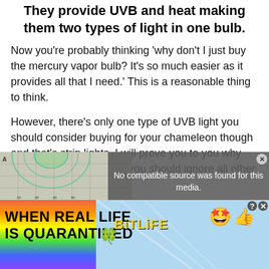They provide UVB and heat making them two types of light in one bulb.
Now you’re probably thinking ‘why don’t I just buy the mercury vapor bulb? It’s so much easier as it provides all that I need.’ This is a reasonable thing to think.
However, there’s only one type of UVB light you should consider buying for your chameleon though and that’s strip lights. I will prove you to you why this is the case and why you should ignore all other types of bulb.
[Figure (engineering-diagram): A diagram showing UVB light distribution curves, labeled 'A' with distance measurements along axes, showing overlapping green and other colored arc patterns on a grid background.]
[Figure (screenshot): Video player overlay showing 'No compatible source was found for this media.' message on dark background with close button.]
[Figure (infographic): Advertisement banner for BitLife app with rainbow background, text 'WHEN REAL LIFE IS QUARANTINED', BitLife logo in yellow, emoji icons of star face and thumbs up, and a sperm illustration.]